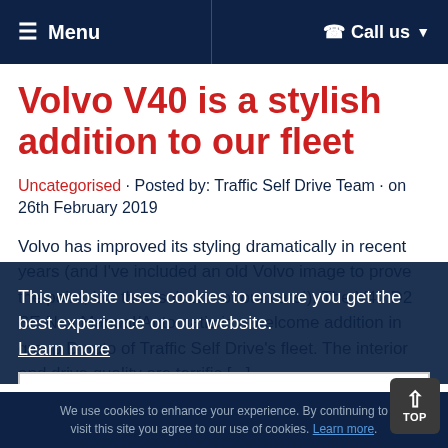≡ Menu  | ☎ Call us ▾
Volvo V40 is a stylish addition to our fleet
Uncategorised · Posted by: Traffic Self Drive Team · on 26th February 2019
Volvo has improved its styling dramatically in recent years (and I've included an old Volvo image to prove the point, but that isn't one of our cars!). The V40 D2 SE Nav Manual/Automatic is a welcome addition in group D auto of Traffic Self Drive's fleet. The interior and drive quality are terrific [...]
This website uses cookies to ensure you get the best experience on our website. Learn more   Got it!
We use cookies to enhance your experience. By continuing to visit this site you agree to our use of cookies. Learn more.